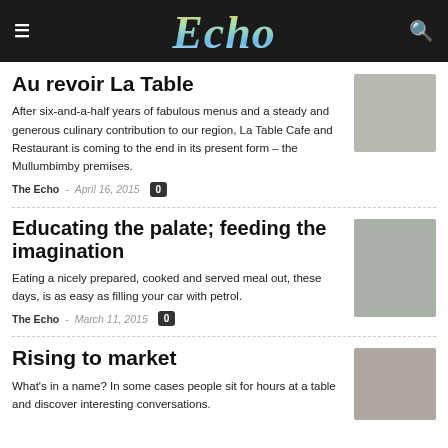Echo
Au revoir La Table
After six-and-a-half years of fabulous menus and a steady and generous culinary contribution to our region, La Table Cafe and Restaurant is coming to the end in its present form – the Mullumbimby premises.
The Echo - April 16, 2015  0
[Figure (photo): Photo of two people, man and woman, smiling]
Educating the palate; feeding the imagination
Eating a nicely prepared, cooked and served meal out, these days, is as easy as filling your car with petrol.
The Echo - March 11, 2015  0
[Figure (photo): Photo of person holding food]
Rising to market
What's in a name? In some cases people sit for hours at a table, and discover interesting conversations.
[Figure (photo): Photo of bearded man with head covering]